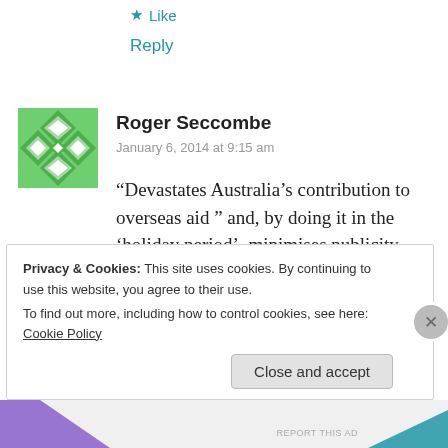★ Like
Reply
[Figure (illustration): Green geometric diamond/square pattern avatar for Roger Seccombe]
Roger Seccombe
January 6, 2014 at 9:15 am
“Devastates Australia’s contribution to overseas aid ” and, by doing it in the ‘holiday period’, minimises publicity.
★ Like
Reply
Privacy & Cookies: This site uses cookies. By continuing to use this website, you agree to their use.
To find out more, including how to control cookies, see here: Cookie Policy
Close and accept